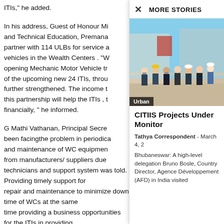ITIs," he added.
In his address, Guest of Honour Mi and Technical Education, Premana partner with 114 ULBs for service a vehicles in the Wealth Centers . "W opening Mechanic Motor Vehicle tr of the upcoming new 24 ITIs, throu further strengthened. The income t this partnership will help the ITIs , t financially, " he informed.
G Mathi Vathanan, Principal Secre been facingthe problem in periodica and maintenance of WC equipmen from manufacturers/ suppliers due technicians and support system was told. Providing timely support for repair and maintenance to minimize down time of WCs at the same time providing a business opportunities for the ITIs in providing
× MORE STORIES
[Figure (photo): A group of people standing together outdoors, wearing formal and business attire including hard hats and masks. Appears to be a delegation visit.]
Urban
CITIIS Projects Under Monitor
Tathya Correspondent - March 4, 2
Bhubaneswar: A high-level delegation Bruno Bosle, Country Director, Agence Développement (AFD) in India visited